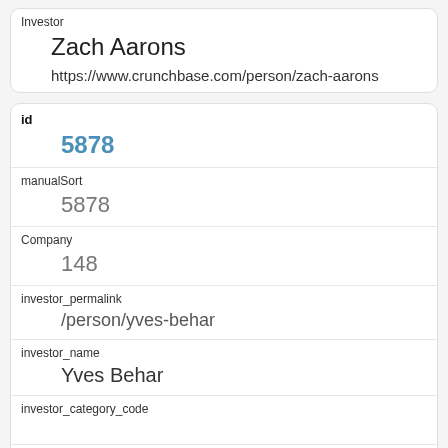| Investor |  |
|  | Zach Aarons |
|  | https://www.crunchbase.com/person/zach-aarons |
| id | 5878 |
| manualSort | 5878 |
| Company | 148 |
| investor_permalink | /person/yves-behar |
| investor_name | Yves Behar |
| investor_category_code |  |
| investor_country_code |  |
| investor_state_code |  |